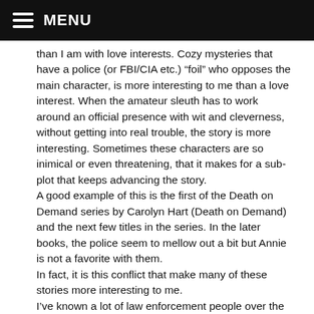MENU
than I am with love interests. Cozy mysteries that have a police (or FBI/CIA etc.) “foil” who opposes the main character, is more interesting to me than a love interest. When the amateur sleuth has to work around an official presence with wit and cleverness, without getting into real trouble, the story is more interesting. Sometimes these characters are so inimical or even threatening, that it makes for a sub-plot that keeps advancing the story.
A good example of this is the first of the Death on Demand series by Carolyn Hart (Death on Demand) and the next few titles in the series. In the later books, the police seem to mellow out a bit but Annie is not a favorite with them.
In fact, it is this conflict that make many of these stories more interesting to me.
I’ve known a lot of law enforcement people over the years and in many stories their actions are totally opposite that of a true professional, who would not leak information to a private citizen or turn a blind eye to hiding evidence and etc. These actions annoy me but do often make for a good story